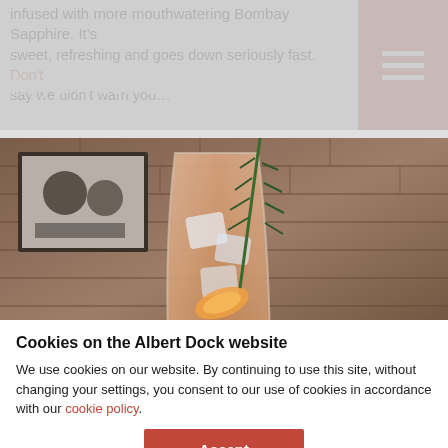infused with more mouthwatering Bombay Sapphire. It's sweet, refreshing and goes down seriously fast. Don't say we didn't warn you…
Royal Albert Dock
Liverpool
[Figure (photo): A cocktail glass filled with an amber-coloured drink, ice, a slice of orange and a sprig of fresh rosemary, set against a rustic exposed brick wall with a framed black-and-white photo in the background.]
Cookies on the Albert Dock website
We use cookies on our website. By continuing to use this site, without changing your settings, you consent to our use of cookies in accordance with our cookie policy.
Accept
rosemary and Fever Tree Mediterranean tonic for a